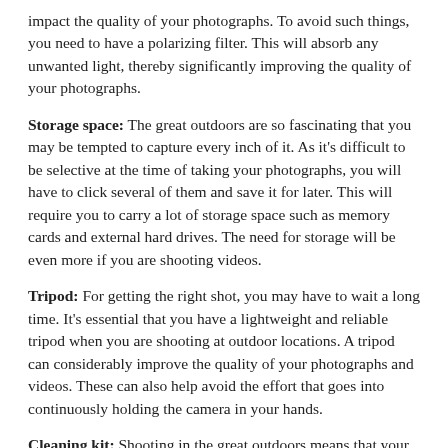impact the quality of your photographs. To avoid such things, you need to have a polarizing filter. This will absorb any unwanted light, thereby significantly improving the quality of your photographs.
Storage space: The great outdoors are so fascinating that you may be tempted to capture every inch of it. As it's difficult to be selective at the time of taking your photographs, you will have to click several of them and save it for later. This will require you to carry a lot of storage space such as memory cards and external hard drives. The need for storage will be even more if you are shooting videos.
Tripod: For getting the right shot, you may have to wait a long time. It's essential that you have a lightweight and reliable tripod when you are shooting at outdoor locations. A tripod can considerably improve the quality of your photographs and videos. These can also help avoid the effort that goes into continuously holding the camera in your hands.
Cleaning kit: Shooting in the great outdoors means that your camera and other equipment will be exposed to things like dust, mud, water, moisture, etc. These can impact the quality of your photographs or even damage your camera and accessories. This is why it is important to carry a cleaning kit when you are shooting at outdoor locations.